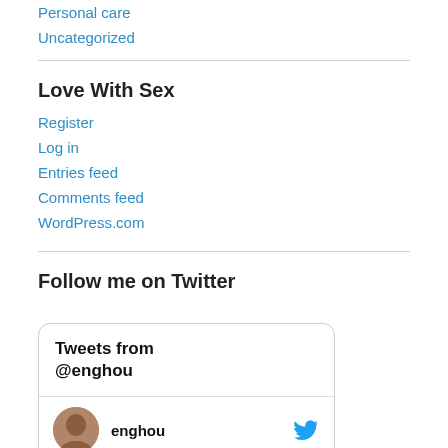Personal care
Uncategorized
Love With Sex
Register
Log in
Entries feed
Comments feed
WordPress.com
Follow me on Twitter
[Figure (screenshot): Twitter widget showing 'Tweets from @enghou' header and a user row with avatar photo, username 'enghou', and Twitter bird icon]